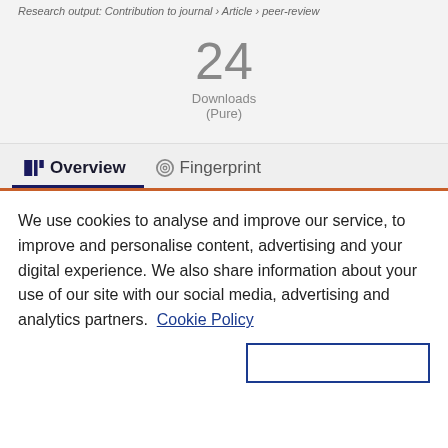Research output: Contribution to journal › Article › peer-review
24
Downloads
(Pure)
Overview   Fingerprint
We use cookies to analyse and improve our service, to improve and personalise content, advertising and your digital experience. We also share information about your use of our site with our social media, advertising and analytics partners.  Cookie Policy